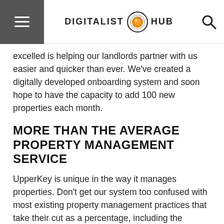DIGITALIST HUB
excelled is helping our landlords partner with us easier and quicker than ever. We've created a digitally developed onboarding system and soon hope to have the capacity to add 100 new properties each month.
MORE THAN THE AVERAGE PROPERTY MANAGEMENT SERVICE
UpperKey is unique in the way it manages properties. Don't get our system too confused with most existing property management practices that take their cut as a percentage, including the abundance of Airbnb management businesses.
Our guaranteed rent includes everything.
Most property management outfits still expect you to carry